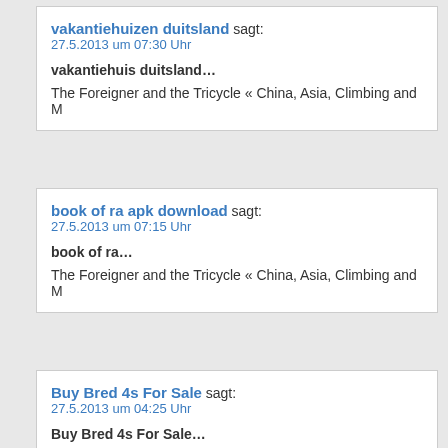vakantiehuizen duitsland sagt:
27.5.2013 um 07:30 Uhr

vakantiehuis duitsland…

The Foreigner and the Tricycle « China, Asia, Climbing and
book of ra apk download sagt:
27.5.2013 um 07:15 Uhr

book of ra…

The Foreigner and the Tricycle « China, Asia, Climbing and
Buy Bred 4s For Sale sagt:
27.5.2013 um 04:25 Uhr

Buy Bred 4s For Sale…

Bred 11s and Bred 4s For Sale and Buy Fire Red 5s For Sale and Pre Order Black Grape 5s and Pre Order Reverse Concord 11 Low For Sale…
Cheap Vibram Five Fingers sagt:
26.5.2013 um 19:49 Uhr